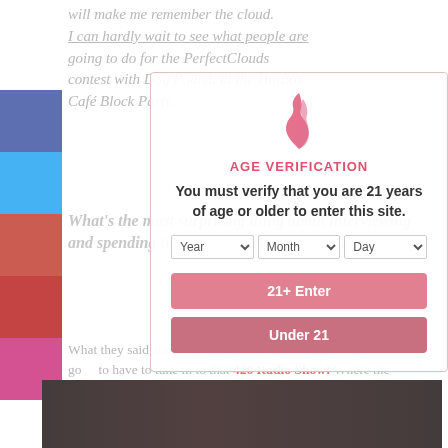will make me remember the cloud. I can hardly wait to see what people are going to do for the PerfectClouds contest with Dog Pound, at the HotBox Café Block Party.
What's the most surprising thing about interviewing and spending time with Cheech & Chong?
What they said about the Trailer Park Boys Year for the are going to have to tune in to that 420 Radio Show! Where the interview is going to be revealed!
[Figure (photo): Photo of people seated at a table in a radio show or interview setting, low-light venue with red ambient lighting]
AGE VERIFICATION
You must verify that you are 21 years of age or older to enter this site.